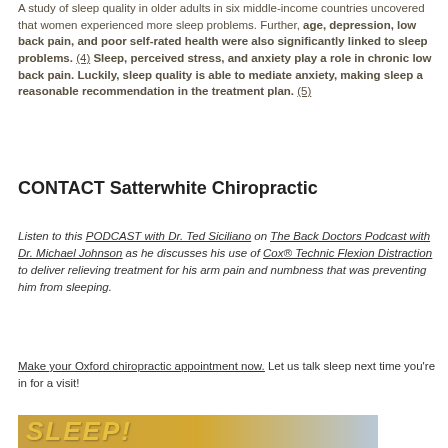A study of sleep quality in older adults in six middle-income countries uncovered that women experienced more sleep problems. Further, age, depression, low back pain, and poor self-rated health were also significantly linked to sleep problems. (4) Sleep, perceived stress, and anxiety play a role in chronic low back pain. Luckily, sleep quality is able to mediate anxiety, making sleep a reasonable recommendation in the treatment plan. (5)
CONTACT Satterwhite Chiropractic
Listen to this PODCAST with Dr. Ted Siciliano on The Back Doctors Podcast with Dr. Michael Johnson as he discusses his use of Cox® Technic Flexion Distraction to deliver relieving treatment for his arm pain and numbness that was preventing him from sleeping.
Make your Oxford chiropractic appointment now. Let us talk sleep next time you're in for a visit!
[Figure (illustration): Banner image with large bold italic text 'SLEEP!' on a golden/tan background with a light blue section on the right]